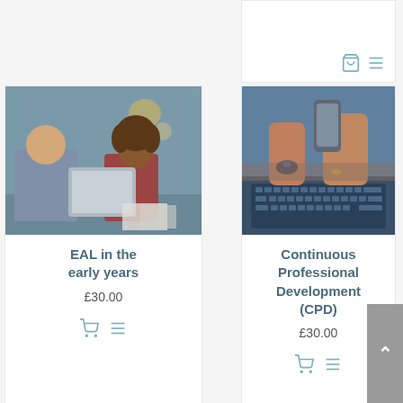[Figure (other): Partial product card visible at top right, showing cart and list icons]
[Figure (photo): Photo of a man and woman looking at a tablet together in a classroom setting]
EAL in the early years
£30.00
[Figure (other): Cart icon and list icon buttons for EAL in the early years product]
[Figure (photo): Photo of hands using a laptop and smartphone on a desk]
Continuous Professional Development (CPD)
£30.00
[Figure (other): Cart icon and list icon buttons for CPD product]